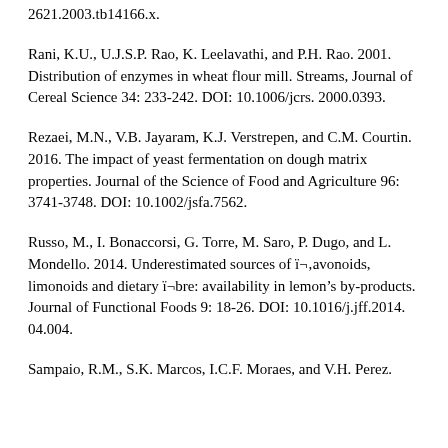2621.2003.tb14166.x.
Rani, K.U., U.J.S.P. Rao, K. Leelavathi, and P.H. Rao. 2001. Distribution of enzymes in wheat flour mill. Streams, Journal of Cereal Science 34: 233-242. DOI: 10.1006/jcrs.2000.0393.
Rezaei, M.N., V.B. Jayaram, K.J. Verstrepen, and C.M. Courtin. 2016. The impact of yeast fermentation on dough matrix properties. Journal of the Science of Food and Agriculture 96: 3741-3748. DOI: 10.1002/jsfa.7562.
Russo, M., I. Bonaccorsi, G. Torre, M. Saro, P. Dugo, and L. Mondello. 2014. Underestimated sources of ï¬‚avonoids, limonoids and dietary ï¬bre: availability in lemon's by-products. Journal of Functional Foods 9: 18-26. DOI: 10.1016/j.jff.2014.04.004.
Sampaio, R.M., S.K. Marcos, I.C.F. Moraes, and V.H. Perez.